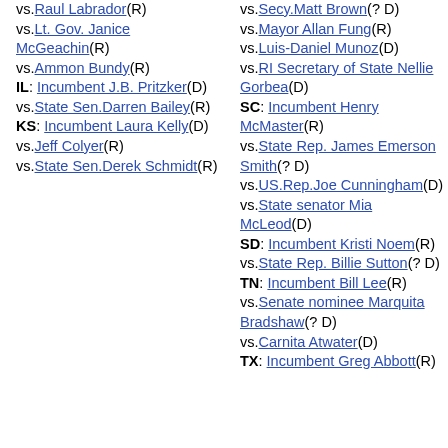vs.Raul Labrador(R) vs.Lt. Gov. Janice McGeachin(R) vs.Ammon Bundy(R) IL: Incumbent J.B. Pritzker(D) vs.State Sen.Darren Bailey(R) KS: Incumbent Laura Kelly(D) vs.Jeff Colyer(R) vs.State Sen.Derek Schmidt(R)
vs.Secy.Matt Brown(? D) vs.Mayor Allan Fung(R) vs.Luis-Daniel Munoz(D) vs.RI Secretary of State Nellie Gorbea(D) SC: Incumbent Henry McMaster(R) vs.State Rep. James Emerson Smith(? D) vs.US.Rep.Joe Cunningham(D) vs.State senator Mia McLeod(D) SD: Incumbent Kristi Noem(R) vs.State Rep. Billie Sutton(? D) TN: Incumbent Bill Lee(R) vs.Senate nominee Marquita Bradshaw(? D) vs.Carnita Atwater(D) TX: Incumbent Greg Abbott(R)